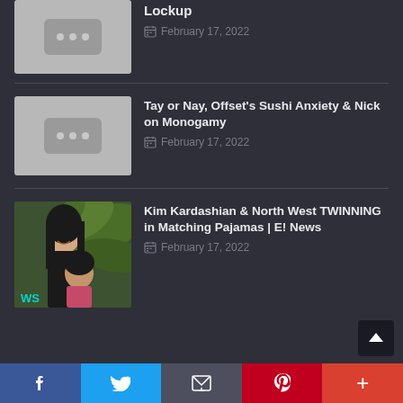[Figure (screenshot): Partial video thumbnail placeholder with dark dots on grey background, partially visible at top]
Lockup
February 17, 2022
[Figure (screenshot): Video thumbnail placeholder with three dots on grey background]
Tay or Nay, Offset's Sushi Anxiety & Nick on Monogamy
February 17, 2022
[Figure (photo): Photo of two women smiling, one with long dark hair, in front of tropical plants, with WS badge in corner]
Kim Kardashian & North West TWINNING in Matching Pajamas | E! News
February 17, 2022
f  Twitter  email  Pinterest  +